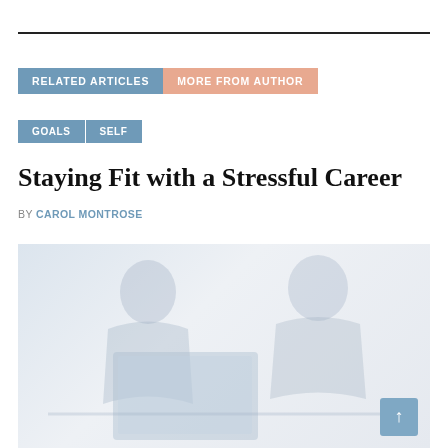RELATED ARTICLES   MORE FROM AUTHOR
GOALS   SELF
Staying Fit with a Stressful Career
BY CAROL MONTROSE
[Figure (photo): A faded/washed-out photo of two people working at a desk with a laptop in an office setting]